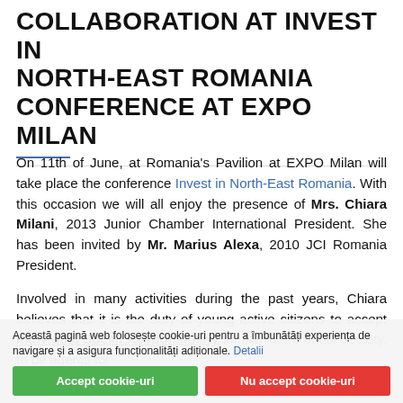COLLABORATION AT INVEST IN NORTH-EAST ROMANIA CONFERENCE AT EXPO MILAN
On 11th of June, at Romania's Pavilion at EXPO Milan will take place the conference Invest in North-East Romania. With this occasion we will all enjoy the presence of Mrs. Chiara Milani, 2013 Junior Chamber International President. She has been invited by Mr. Marius Alexa, 2010 JCI Romania President.
Involved in many activities during the past years, Chiara believes that it is the duty of young active citizens to accept Individual Social Responsibility for the future of our society, to be agents for
Această pagină web folosește cookie-uri pentru a îmbunătăți experiența de navigare și a asigura funcționalități adiționale. Detalii
Accept cookie-uri | Nu accept cookie-uri